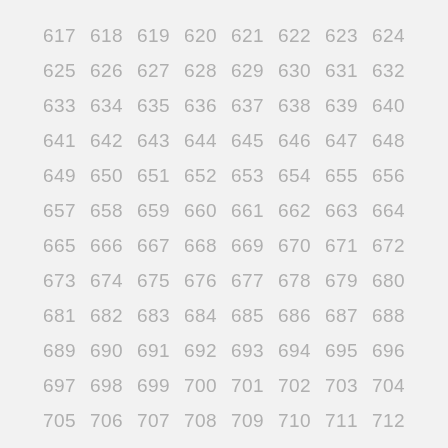| 617 | 618 | 619 | 620 | 621 | 622 | 623 | 624 |
| 625 | 626 | 627 | 628 | 629 | 630 | 631 | 632 |
| 633 | 634 | 635 | 636 | 637 | 638 | 639 | 640 |
| 641 | 642 | 643 | 644 | 645 | 646 | 647 | 648 |
| 649 | 650 | 651 | 652 | 653 | 654 | 655 | 656 |
| 657 | 658 | 659 | 660 | 661 | 662 | 663 | 664 |
| 665 | 666 | 667 | 668 | 669 | 670 | 671 | 672 |
| 673 | 674 | 675 | 676 | 677 | 678 | 679 | 680 |
| 681 | 682 | 683 | 684 | 685 | 686 | 687 | 688 |
| 689 | 690 | 691 | 692 | 693 | 694 | 695 | 696 |
| 697 | 698 | 699 | 700 | 701 | 702 | 703 | 704 |
| 705 | 706 | 707 | 708 | 709 | 710 | 711 | 712 |
| 713 | 714 | 715 | 716 | 717 | 718 | 719 | 720 |